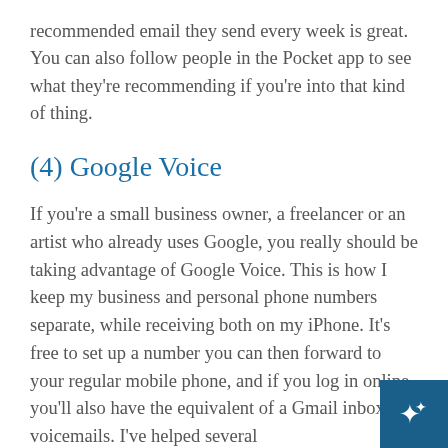recommended email they send every week is great. You can also follow people in the Pocket app to see what they're recommending if you're into that kind of thing.
(4) Google Voice
If you're a small business owner, a freelancer or an artist who already uses Google, you really should be taking advantage of Google Voice. This is how I keep my business and personal phone numbers separate, while receiving both on my iPhone. It's free to set up a number you can then forward to your regular mobile phone, and if you log in online you'll also have the equivalent of a Gmail inbox for voicemails. I've helped several clients get this set up, but it's super easy